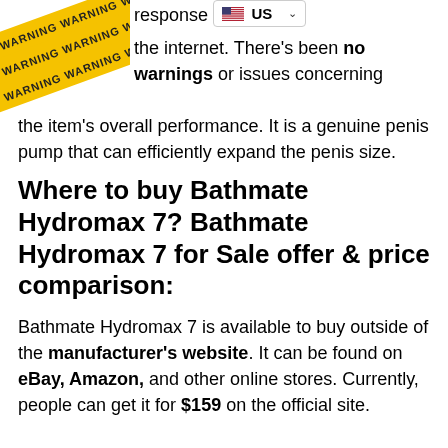[Figure (illustration): Warning tape image with yellow and black WARNING text repeated, shown diagonally stacked]
response US [dropdown] the internet. There's been no warnings or issues concerning the item's overall performance. It is a genuine penis pump that can efficiently expand the penis size.
Where to buy Bathmate Hydromax 7? Bathmate Hydromax 7 for Sale offer & price comparison:
Bathmate Hydromax 7 is available to buy outside of the manufacturer's website. It can be found on eBay, Amazon, and other online stores. Currently, people can get it for $159 on the official site.